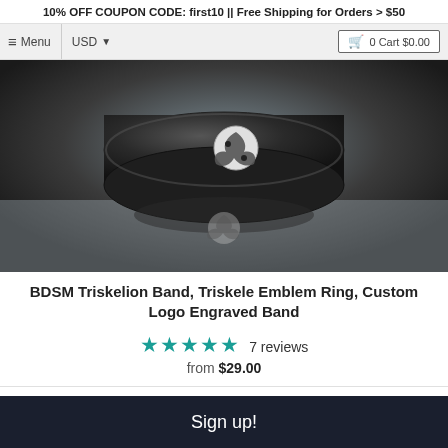10% OFF COUPON CODE: first10 || Free Shipping for Orders > $50
[Figure (photo): Close-up photo of a dark metal ring with a triskelion/triskele yin-yang style engraving, reflected on a shiny surface.]
BDSM Triskelion Band, Triskele Emblem Ring, Custom Logo Engraved Band
★★★★★ 7 reviews
from $29.00
Sign up!